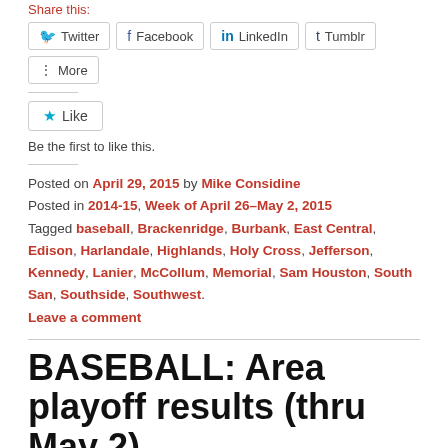Share this:
[Figure (screenshot): Social sharing buttons: Twitter, Facebook, LinkedIn, Tumblr, More]
[Figure (screenshot): Like button with star icon]
Be the first to like this.
Posted on April 29, 2015 by Mike Considine
Posted in 2014-15, Week of April 26-May 2, 2015
Tagged baseball, Brackenridge, Burbank, East Central, Edison, Harlandale, Highlands, Holy Cross, Jefferson, Kennedy, Lanier, McCollum, Memorial, Sam Houston, South San, Southside, Southwest.
Leave a comment
BASEBALL: Area playoff results (thru May 2)